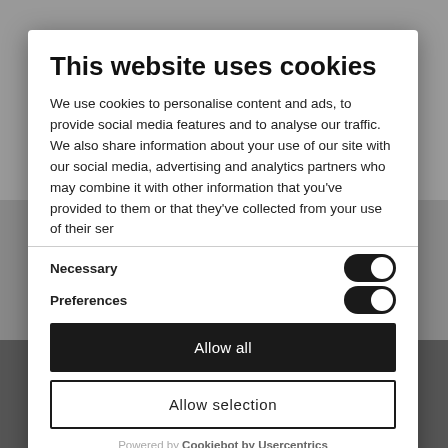[Figure (screenshot): Background photo of outdoor scene in black and white, partially visible behind modal dialog]
This website uses cookies
We use cookies to personalise content and ads, to provide social media features and to analyse our traffic. We also share information about your use of our site with our social media, advertising and analytics partners who may combine it with other information that you've provided to them or that they've collected from your use of their services.
Necessary [toggle on]
Preferences [toggle on]
Allow all
Allow selection
Powered by Cookiebot by Usercentrics